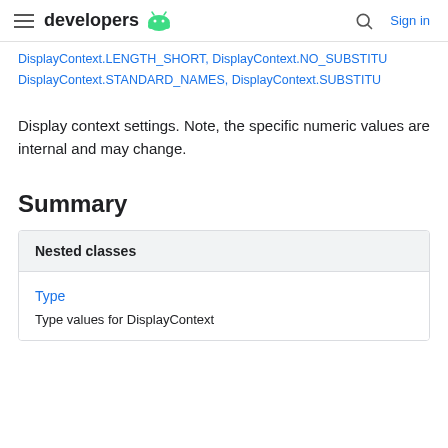developers | Sign in
DisplayContext.LENGTH_SHORT, DisplayContext.NO_SUBSTITU DisplayContext.STANDARD_NAMES, DisplayContext.SUBSTITU
Display context settings. Note, the specific numeric values are internal and may change.
Summary
| Nested classes |
| --- |
| Type | Type values for DisplayContext |